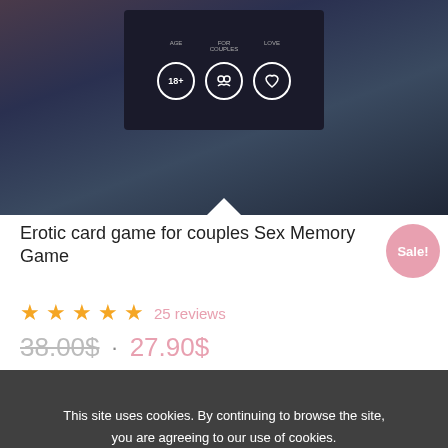[Figure (photo): Product photo of an erotic card game box on dark fabric background with icons visible on the box]
Erotic card game for couples Sex Memory Game
Sale!
★★★★★ 25 reviews
38.00$ · 27.90$
This site uses cookies. By continuing to browse the site, you are agreeing to our use of cookies.
[Figure (photo): Bottom portion of another product photo showing hands]